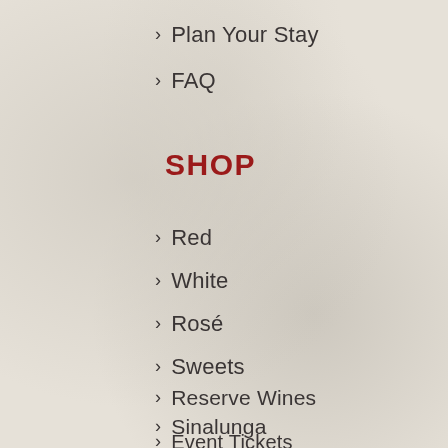> Plan Your Stay
> FAQ
SHOP
> Red
> White
> Rosé
> Sweets
> Reserve Wines
> Sinalunga
> Event Tickets